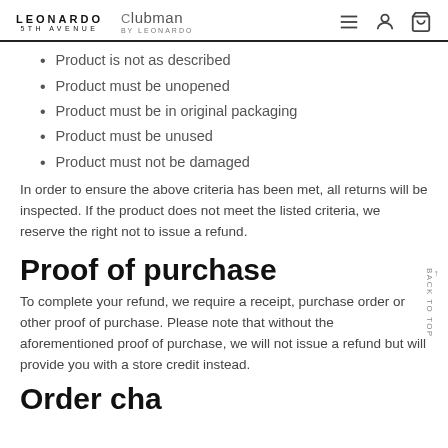LEONARDO 5TH AVENUE | Clubman BY LEONARDO
Product is not as described
Product must be unopened
Product must be in original packaging
Product must be unused
Product must not be damaged
In order to ensure the above criteria has been met, all returns will be inspected. If the product does not meet the listed criteria, we reserve the right not to issue a refund.
Proof of purchase
To complete your refund, we require a receipt, purchase order or other proof of purchase. Please note that without the aforementioned proof of purchase, we will not issue a refund but will provide you with a store credit instead.
Order changes/cancellations